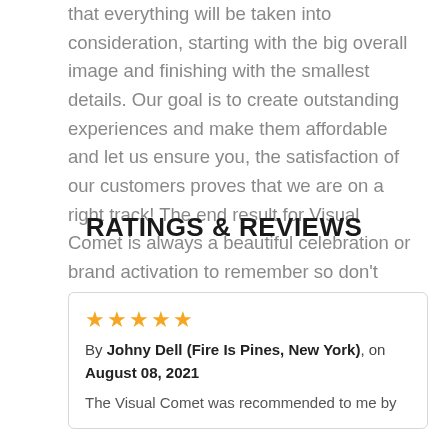that everything will be taken into consideration, starting with the big overall image and finishing with the smallest details. Our goal is to create outstanding experiences and make them affordable and let us ensure you, the satisfaction of our customers proves that we are on a right track! The end result for Visual Comet is always a beautiful celebration or brand activation to remember so don't hesitate and contact us!
RATINGS & REVIEWS
★★★★★
By Johny Dell (Fire Is Pines, New York), on August 08, 2021
The Visual Comet was recommended to me by